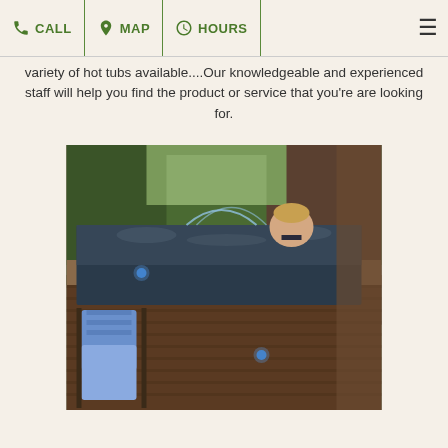CALL | MAP | HOURS
variety of hot tubs available....Our knowledgeable and experienced staff will help you find the product or service that you're are looking for.
[Figure (photo): A woman relaxing in a large luxury hot tub with water jets and blue LED lights, with blue towels hanging on the side, set outdoors among trees.]